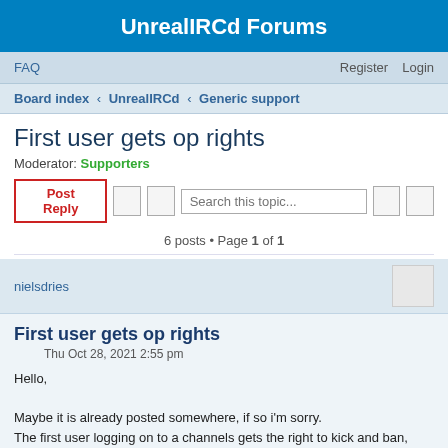UnrealIRCd Forums
FAQ    Register    Login
Board index < UnrealIRCd < Generic support
First user gets op rights
Moderator: Supporters
6 posts • Page 1 of 1
nielsdries
First user gets op rights
Thu Oct 28, 2021 2:55 pm
Hello,

Maybe it is already posted somewhere, if so i'm sorry.
The first user logging on to a channels gets the right to kick and ban, how can i prevent that?

thank you in advance